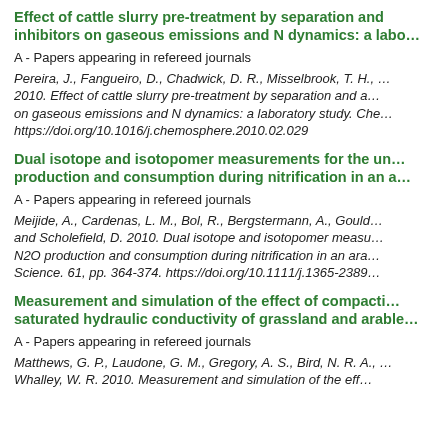Effect of cattle slurry pre-treatment by separation and inhibitors on gaseous emissions and N dynamics: a labo…
A - Papers appearing in refereed journals
Pereira, J., Fangueiro, D., Chadwick, D. R., Misselbrook, T. H., … 2010. Effect of cattle slurry pre-treatment by separation and a… on gaseous emissions and N dynamics: a laboratory study. Che… https://doi.org/10.1016/j.chemosphere.2010.02.029
Dual isotope and isotopomer measurements for the un… production and consumption during nitrification in an a…
A - Papers appearing in refereed journals
Meijide, A., Cardenas, L. M., Bol, R., Bergstermann, A., Gould… and Scholefield, D. 2010. Dual isotope and isotopomer measu… N2O production and consumption during nitrification in an ara… Science. 61, pp. 364-374. https://doi.org/10.1111/j.1365-2389…
Measurement and simulation of the effect of compacti… saturated hydraulic conductivity of grassland and arable…
A - Papers appearing in refereed journals
Matthews, G. P., Laudone, G. M., Gregory, A. S., Bird, N. R. A., … Whalley, W. R. 2010. Measurement and simulation of the eff…